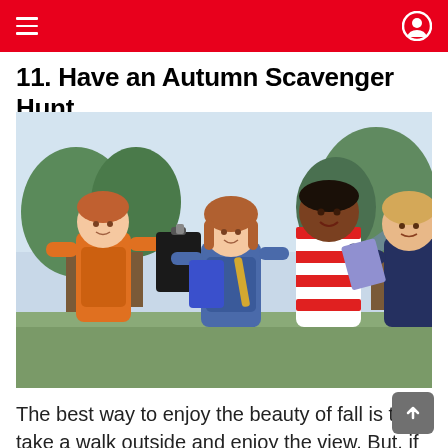≡  [dark mode icon] [user icon]
11. Have an Autumn Scavenger Hunt
[Figure (photo): Four children outdoors holding clipboards and notebooks, looking upward and smiling, appearing to participate in a scavenger hunt activity.]
The best way to enjoy the beauty of fall is to take a walk outside and enjoy the view. But, if you want to spice up your afternoon walks with your little ones,